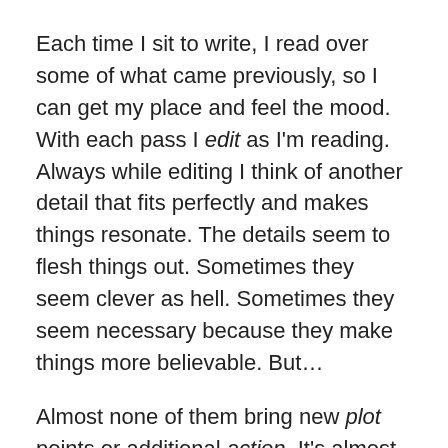Each time I sit to write, I read over some of what came previously, so I can get my place and feel the mood. With each pass I edit as I'm reading. Always while editing I think of another detail that fits perfectly and makes things resonate. The details seem to flesh things out. Sometimes they seem clever as hell. Sometimes they seem necessary because they make things more believable. But…
Almost none of them bring new plot points or additional action. It's almost all about characterization.
And dialogue.
As a rule of thumb, good dialogue is snappy. Unfortunately, adding dialogue fights snappiness, because added dialogue makes the yakking longer and